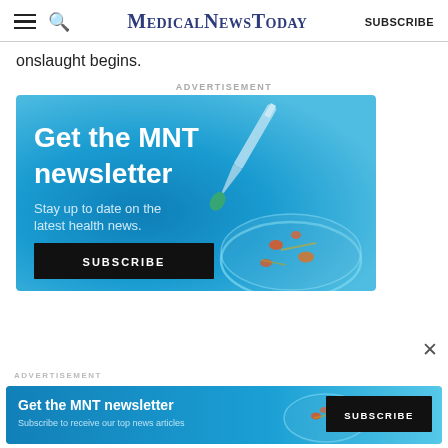MedicalNewsToday  SUBSCRIBE
onslaught begins.
ADVERTISEMENT
[Figure (illustration): Medical News Today newsletter advertisement banner with blue gradient background. Features text 'Get the MNT newsletter', 'Stay up to date on the latest health news.', a SUBSCRIBE button, and an illustration of a pipette dropping liquid into a petri dish.]
ADVERTISEMENT
[Figure (illustration): Smaller Medical News Today newsletter advertisement bar with blue gradient background. Features text 'Get the MNT newsletter', 'Subscribe to receive our top news articles', and a SUBSCRIBE button.]